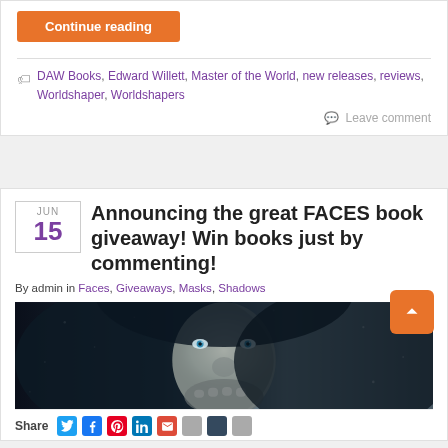Continue reading
DAW Books, Edward Willett, Master of the World, new releases, reviews, Worldshaper, Worldshapers
Leave comment
Announcing the great FACES book giveaway! Win books just by commenting!
By admin in Faces, Giveaways, Masks, Shadows
[Figure (photo): Close-up of a hooded figure with pale skin and striking blue eyes in a wintry/snowy setting]
Share